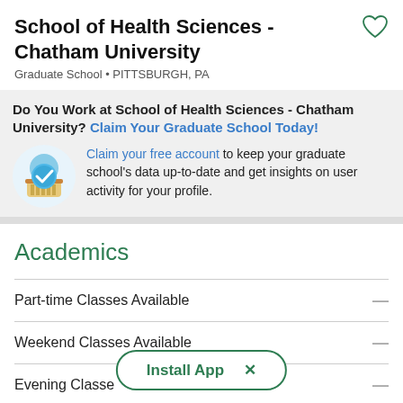School of Health Sciences - Chatham University
Graduate School • PITTSBURGH, PA
Do You Work at School of Health Sciences - Chatham University? Claim Your Graduate School Today!
Claim your free account to keep your graduate school's data up-to-date and get insights on user activity for your profile.
Academics
Part-time Classes Available
Weekend Classes Available
Evening Classes
Install App